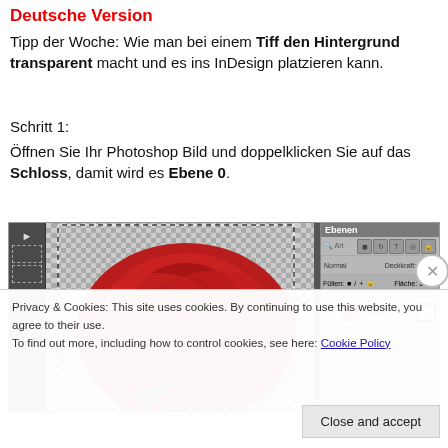Deutsche Version
Tipp der Woche: Wie man bei einem Tiff den Hintergrund transparent macht und es ins InDesign platzieren kann.
Schritt 1:
Öffnen Sie Ihr Photoshop Bild und doppelklicken Sie auf das Schloss, damit wird es Ebene 0.
[Figure (screenshot): Photoshop screenshot showing a red rose image with a transparent background being edited. The layers panel on the right shows 'Ebene 0' with a lock icon highlighted in red.]
Privacy & Cookies: This site uses cookies. By continuing to use this website, you agree to their use.
To find out more, including how to control cookies, see here: Cookie Policy
Close and accept